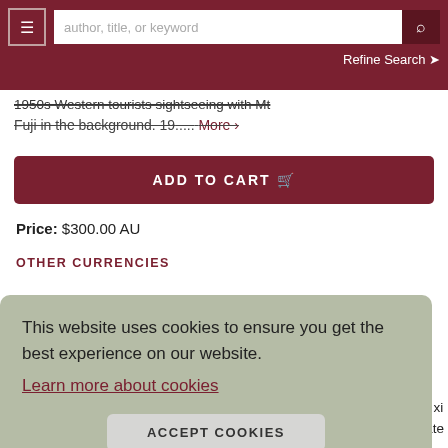author, title, or keyword | Refine Search
1950s Western tourists sightseeing with Mt Fuji in the background. 19..... More >
ADD TO CART
Price: $300.00 AU
OTHER CURRENCIES
This website uses cookies to ensure you get the best experience on our website. Learn more about cookies
ACCEPT COOKIES
zhu xi
initiate
A New Movement to Study